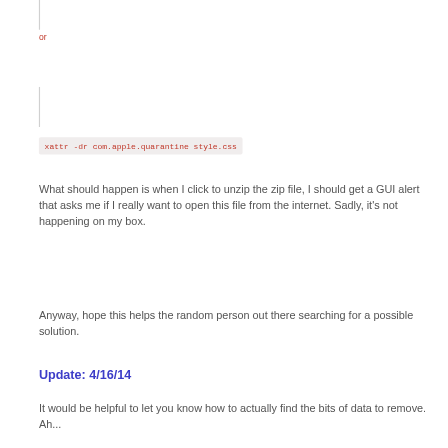or
What should happen is when I click to unzip the zip file, I should get a GUI alert that asks me if I really want to open this file from the internet. Sadly, it's not happening on my box.
Anyway, hope this helps the random person out there searching for a possible solution.
Update: 4/16/14
It would be helpful to let you know how to actually find the bits of data to remove. Ah...